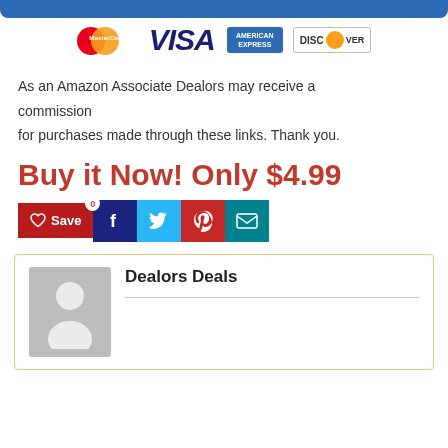[Figure (illustration): Payment method logos: MasterCard, VISA, American Express, Discover]
As an Amazon Associate Dealors may receive a commission for purchases made through these links. Thank you.
Buy it Now! Only $4.99
[Figure (infographic): Social share buttons: Save (with heart icon and badge 0), Facebook, Twitter, Pinterest, Email]
[Figure (infographic): Author box with avatar placeholder and name: Dealors Deals]